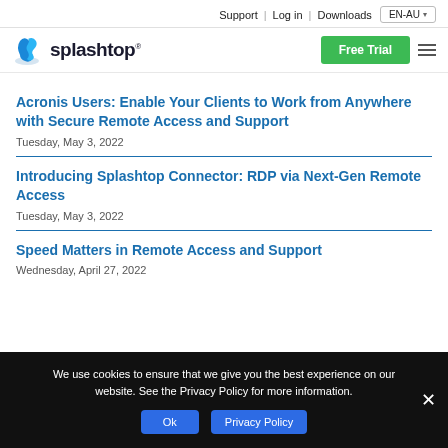Support | Log in | Downloads | EN-AU
[Figure (logo): Splashtop logo with stylized blue splash icon and wordmark 'splashtop' in dark text, with 'Free Trial' green button and hamburger menu]
Acronis Users: Enable Your Clients to Work from Anywhere with Secure Remote Access and Support
Tuesday, May 3, 2022
Introducing Splashtop Connector: RDP via Next-Gen Remote Access
Tuesday, May 3, 2022
Speed Matters in Remote Access and Support
Wednesday, April 27, 2022
We use cookies to ensure that we give you the best experience on our website. See the Privacy Policy for more information.